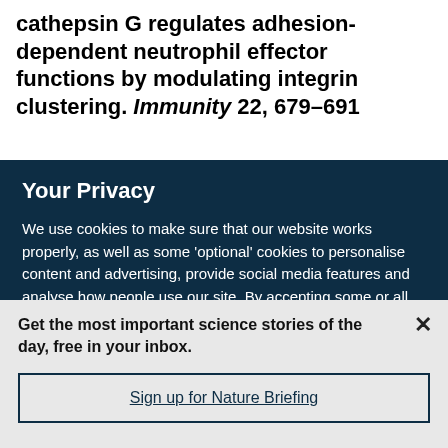cathepsin G regulates adhesion-dependent neutrophil effector functions by modulating integrin clustering. Immunity 22, 679–691
Your Privacy
We use cookies to make sure that our website works properly, as well as some 'optional' cookies to personalise content and advertising, provide social media features and analyse how people use our site. By accepting some or all optional cookies you give consent to the processing of your personal data, including transfer to third parties, some in countries outside of the European Economic Area that do not offer the same data protection standards as the country where you live. You can decide which optional cookies to accept by clicking on 'Manage Settings', where you can
Get the most important science stories of the day, free in your inbox.
Sign up for Nature Briefing